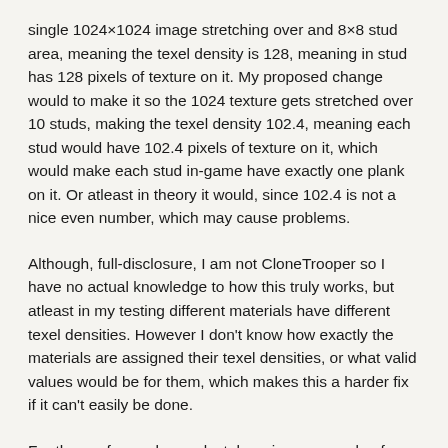single 1024×1024 image stretching over and 8×8 stud area, meaning the texel density is 128, meaning in stud has 128 pixels of texture on it. My proposed change would to make it so the 1024 texture gets stretched over 10 studs, making the texel density 102.4, meaning each stud would have 102.4 pixels of texture on it, which would make each stud in-game have exactly one plank on it. Or atleast in theory it would, since 102.4 is not a nice even number, which may cause problems.
Although, full-disclosure, I am not CloneTrooper so I have no actual knowledge to how this truly works, but atleast in my testing different materials have different texel densities. However I don't know how exactly the materials are assigned their texel densities, or what valid values would be for them, which makes this a harder fix if it can't easily be done.
For those of you who are lost, here is an example of what I